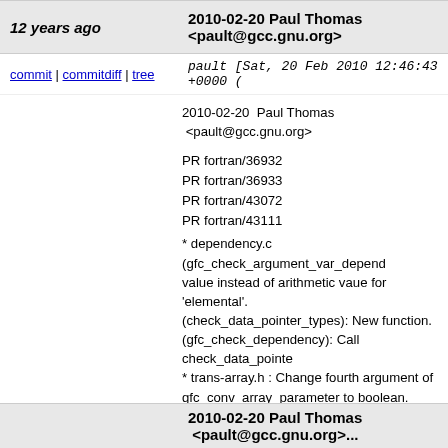12 years ago | 2010-02-20 Paul Thomas <pault@gcc.gnu.org>
commit | commitdiff | tree | pault [Sat, 20 Feb 2010 12:46:43 +0000 (
2010-02-20  Paul Thomas  <pault@gcc.gnu.org>

PR fortran/36932
PR fortran/36933
PR fortran/43072
PR fortran/43111
* dependency.c (gfc_check_argument_var_depend... value instead of arithmetic vaue for 'elemental'. (check_data_pointer_types): New function. (gfc_check_dependency): Call check_data_pointe...
* trans-array.h : Change fourth argument of gfc_conv_array_parameter to boolean.
* trans-array.c (gfc_conv_array_parameter): A con... can be a dummy but it must not be assumed shap... Change fourth argument to boolean. Array constru... always be contiguous and do not need packing an...
* trans-expr.c (gfc_conv_procedure_call): Clean u... space and change fourth argument of gfc_conv_a... to boolean. (gfc_trans_arrayfunc_assign): Change fourth argu... gfc_conv_array_parameter to boolean.
* trans-io.c (gfc_convert_array_to_string): The sam...
* trans-intrinsic.c (gfc_conv_intrinsic_loc): The sam...